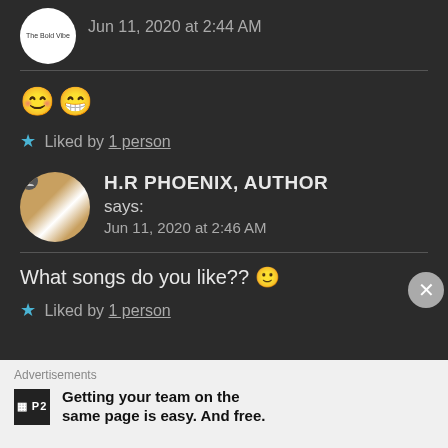Jun 11, 2020 at 2:44 AM
😊😁
★ Liked by 1 person
H.R PHOENIX, AUTHOR says: Jun 11, 2020 at 2:46 AM
What songs do you like?? 🙂
★ Liked by 1 person
Advertisements
Getting your team on the same page is easy. And free.